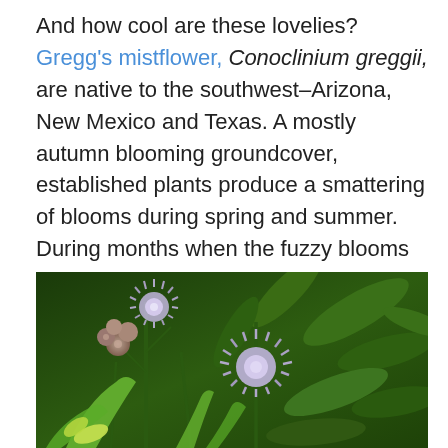And how cool are these lovelies? Gregg's mistflower, Conoclinium greggii, are native to the southwest–Arizona, New Mexico and Texas. A mostly autumn blooming groundcover, established plants produce a smattering of blooms during spring and summer. During months when the fuzzy blooms are on hiatus, the stars of this plant are the palmate, light green leaves. The combination of the lavender-blue blooms and the cheery green leaves gladdens this gardener's heart.
[Figure (photo): Close-up photograph of Gregg's mistflower (Conoclinium greggii) showing fuzzy lavender-blue blooms and light green palmate leaves against a dark green background.]